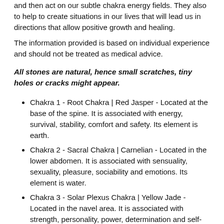and then act on our subtle chakra energy fields. They also to help to create situations in our lives that will lead us in directions that allow positive growth and healing.
The information provided is based on individual experience and should not be treated as medical advice.
All stones are natural, hence small scratches, tiny holes or cracks might appear.
Chakra 1 - Root Chakra | Red Jasper - Located at the base of the spine. It is associated with energy, survival, stability, comfort and safety. Its element is earth.
Chakra 2 - Sacral Chakra | Carnelian - Located in the lower abdomen. It is associated with sensuality, sexuality, pleasure, sociability and emotions. Its element is water.
Chakra 3 - Solar Plexus Chakra | Yellow Jade - Located in the navel area. It is associated with strength, personality, power, determination and self-esteem. Its